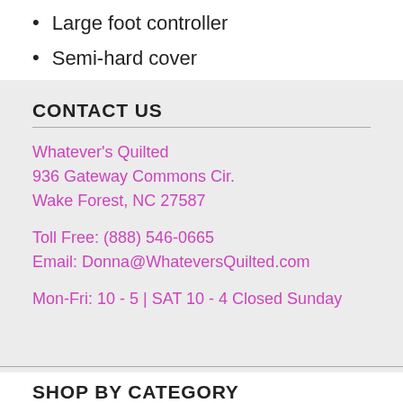Large foot controller
Semi-hard cover
CONTACT US
Whatever's Quilted
936 Gateway Commons Cir.
Wake Forest, NC 27587
Toll Free: (888) 546-0665
Email: Donna@WhateversQuilted.com
Mon-Fri: 10 - 5 | SAT 10 - 4 Closed Sunday
SHOP BY CATEGORY